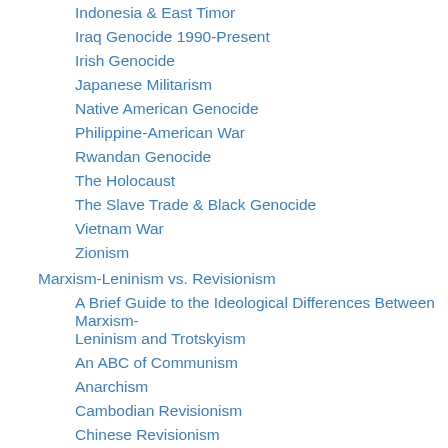Indonesia & East Timor
Iraq Genocide 1990-Present
Irish Genocide
Japanese Militarism
Native American Genocide
Philippine-American War
Rwandan Genocide
The Holocaust
The Slave Trade & Black Genocide
Vietnam War
Zionism
Marxism-Leninism vs. Revisionism
A Brief Guide to the Ideological Differences Between Marxism-Leninism and Trotskyism
An ABC of Communism
Anarchism
Cambodian Revisionism
Chinese Revisionism
Korean Revisionism
Nepal Revisionism